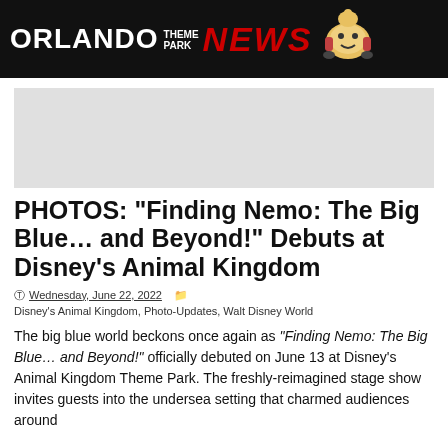ORLANDO THEME PARK NEWS
[Figure (other): Advertisement banner placeholder (gray rectangle)]
PHOTOS: "Finding Nemo: The Big Blue… and Beyond!" Debuts at Disney's Animal Kingdom
Wednesday, June 22, 2022   Disney's Animal Kingdom, Photo-Updates, Walt Disney World
The big blue world beckons once again as "Finding Nemo: The Big Blue… and Beyond!" officially debuted on June 13 at Disney's Animal Kingdom Theme Park. The freshly-reimagined stage show invites guests into the undersea setting that charmed audiences around